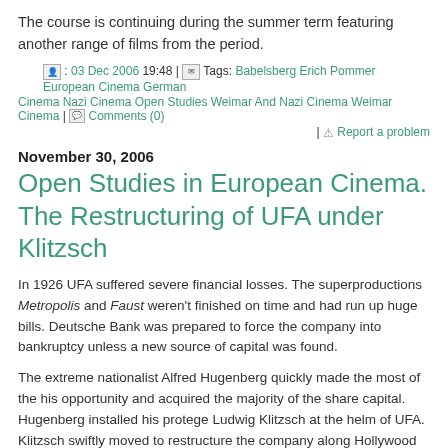The course is continuing during the summer term featuring another range of films from the period.
: 03 Dec 2006 19:48 | Tags: Babelsberg Erich Pommer European Cinema German Cinema Nazi Cinema Open Studies Weimar And Nazi Cinema Weimar Cinema | Comments (0) | Report a problem
November 30, 2006
Open Studies in European Cinema. The Restructuring of UFA under Klitzsch
In 1926 UFA suffered severe financial losses. The superproductions Metropolis and Faust weren’t finished on time and had run up huge bills. Deutsche Bank was prepared to force the company into bankruptcy unless a new source of capital was found.
The extreme nationalist Alfred Hugenberg quickly made the most of the his opportunity and acquired the majority of the share capital. Hugenberg installed his protege Ludwig Klitzsch at the helm of UFA. Klitzsch swiftly moved to restructure the company along Hollywood models of best practice. He also started to diversify into other media communications areas specifically sheet music and gramophone records.
The Central Producer System